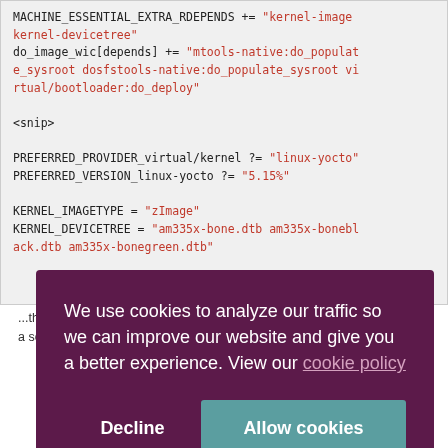MACHINE_ESSENTIAL_EXTRA_RDEPENDS += "kernel-image kernel-devicetree"
do_image_wic[depends] += "mtools-native:do_populate_sysroot dosfstools-native:do_populate_sysroot virtual/bootloader:do_deploy"

<snip>

PREFERRED_PROVIDER_virtual/kernel ?= "linux-yocto"
PREFERRED_VERSION_linux-yocto ?= "5.15%"

KERNEL_IMAGETYPE = "zImage"
KERNEL_DEVICETREE = "am335x-bone.dtb am335x-boneblack.dtb am335x-bonegreen.dtb"
We use cookies to analyze our traffic so we can improve our website and give you a better experience. View our cookie policy
Decline   Allow cookies
...the ...ect a source package to provide a specific functionality. In this case, for ...